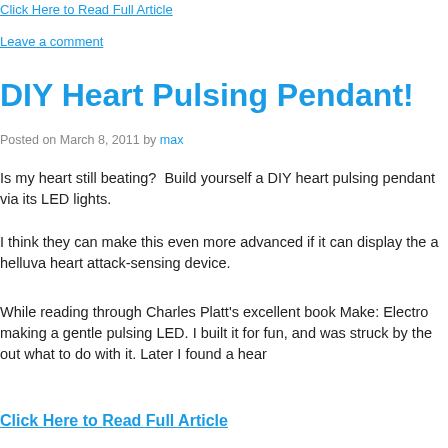Click Here to Read Full Article
Leave a comment
DIY Heart Pulsing Pendant!
Posted on March 8, 2011 by max
Is my heart still beating?  Build yourself a DIY heart pulsing pendant via its LED lights.
I think they can make this even more advanced if it can display the a helluva heart attack-sensing device.
While reading through Charles Platt's excellent book Make: Electro making a gentle pulsing LED. I built it for fun, and was struck by the out what to do with it. Later I found a hear
Click Here to Read Full Article